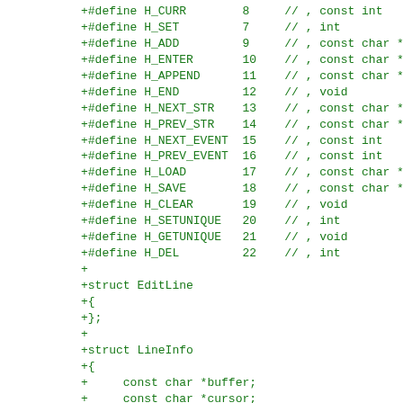+#define H_CURR        8     // , const int
+#define H_SET         7     // , int
+#define H_ADD         9     // , const char *
+#define H_ENTER       10    // , const char *
+#define H_APPEND      11    // , const char *
+#define H_END         12    // , void
+#define H_NEXT_STR    13    // , const char *
+#define H_PREV_STR    14    // , const char *
+#define H_NEXT_EVENT  15    // , const int
+#define H_PREV_EVENT  16    // , const int
+#define H_LOAD        17    // , const char *
+#define H_SAVE        18    // , const char *
+#define H_CLEAR       19    // , void
+#define H_SETUNIQUE   20    // , int
+#define H_GETUNIQUE   21    // , void
+#define H_DEL         22    // , int
+
+struct EditLine
+{
+};
+
+struct LineInfo
+{
+     const char *buffer;
+     const char *cursor;
+     const char *lastchar;
+};
+
+struct History
+{